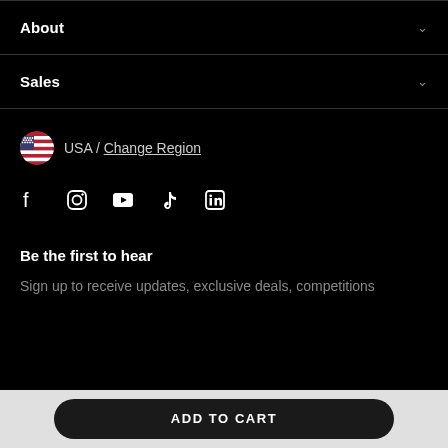About
Sales
USA / Change Region
[Figure (infographic): Social media icons: Facebook, Instagram, YouTube, TikTok, LinkedIn]
Be the first to hear
Sign up to receive updates, exclusive deals, competitions
ADD TO CART